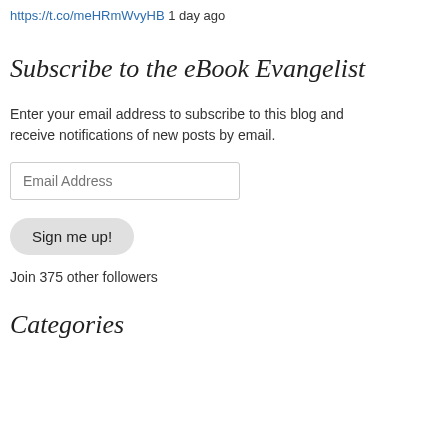https://t.co/meHRmWvyHB 1 day ago
Subscribe to the eBook Evangelist
Enter your email address to subscribe to this blog and receive notifications of new posts by email.
Email Address
Sign me up!
Join 375 other followers
Categories